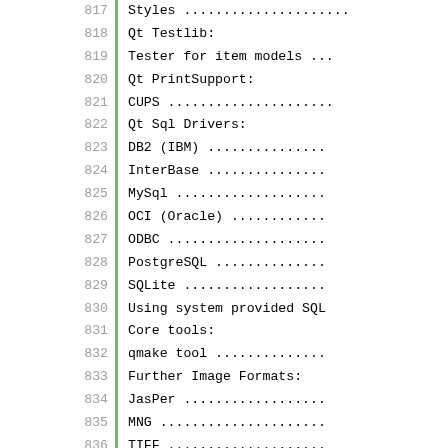817  Styles .....................
818  Qt Testlib:
819    Tester for item models ...
820  Qt PrintSupport:
821    CUPS .....................
822  Qt Sql Drivers:
823    DB2 (IBM) ...............
824    InterBase ...............
825    MySql ...................
826    OCI (Oracle) ............
827    ODBC ....................
828    PostgreSQL ..............
829    SQLite ..................
830      Using system provided SQL
831  Core tools:
832    qmake tool ..............
833  Further Image Formats:
834    JasPer ..................
835    MNG .....................
836    TIFF ....................
837      Using system libtiff ...
838    WEBP ....................
839      Using system libwebp ...
840  Qt QML:
841    QML network support ......
842    QML debugging and profiling
843    QML just-in-time compiler .
844    QML sequence object ......
845    QML XML http request .....